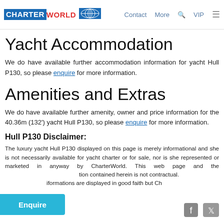CHARTERWORLD | Contact | More | VIP
diesel engines. Max minimum beam is of 8.26m (27'1")
Yacht Accommodation
We do have available further accommodation information for yacht Hull P130, so please enquire for more information.
Amenities and Extras
We do have available further amenity, owner and price information for the 40.36m (132') yacht Hull P130, so please enquire for more information.
Hull P130 Disclaimer:
The luxury yacht Hull P130 displayed on this page is merely informational and she is not necessarily available for yacht charter or for sale, nor is she represented or marketed in anyway by CharterWorld. This web page and the information contained herein is not contractual. All informations are displayed in good faith but Ch